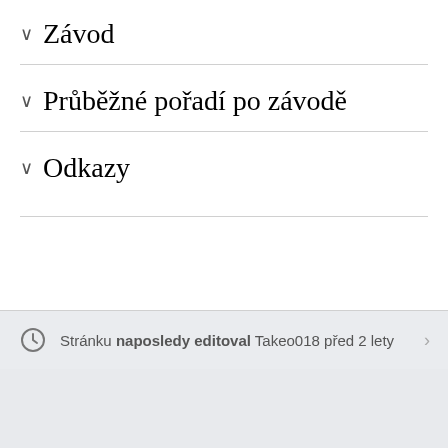Závod
Průběžné pořadí po závodě
Odkazy
Stránku naposledy editoval Takeo018 před 2 lety